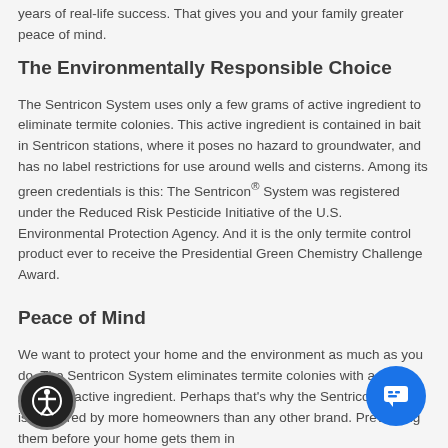years of real-life success. That gives you and your family greater peace of mind.
The Environmentally Responsible Choice
The Sentricon System uses only a few grams of active ingredient to eliminate termite colonies. This active ingredient is contained in bait in Sentricon stations, where it poses no hazard to groundwater, and has no label restrictions for use around wells and cisterns. Among its green credentials is this: The Sentricon® System was registered under the Reduced Risk Pesticide Initiative of the U.S. Environmental Protection Agency. And it is the only termite control product ever to receive the Presidential Green Chemistry Challenge Award.
Peace of Mind
We want to protect your home and the environment as much as you do. The Sentricon System eliminates termite colonies with a few grams of active ingredient. Perhaps that's why the Sentricon System is preferred by more homeowners than any other brand. Preventing them before your home gets them in